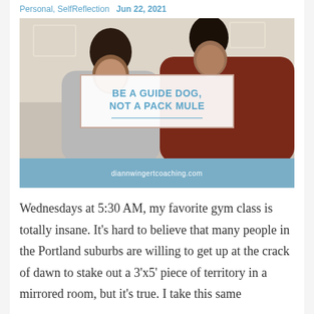Personal, SelfReflection  Jun 22, 2021
[Figure (photo): Two women smiling and looking at something together. Text overlay reads 'BE A GUIDE DOG, NOT A PACK MULE' with 'diannwingertcoaching.com' on a blue bar below.]
Wednesdays at 5:30 AM, my favorite gym class is totally insane. It's hard to believe that many people in the Portland suburbs are willing to get up at the crack of dawn to stake out a 3'x5' piece of territory in a mirrored room, but it's true. I take this same